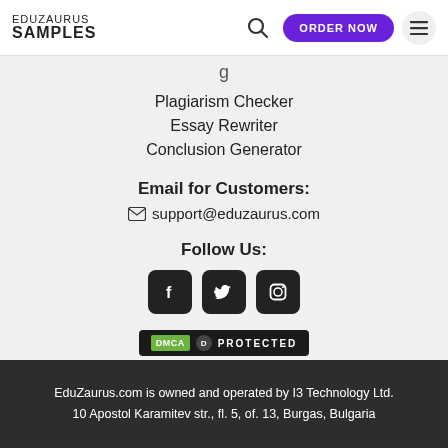EDUZAURUS SAMPLES | ORDER NOW
Plagiarism Checker
Essay Rewriter
Conclusion Generator
Email for Customers:
✉ support@eduzaurus.com
Follow Us:
[Figure (logo): Social media icons: Facebook, Twitter, Instagram in black rounded square boxes]
[Figure (logo): DMCA Protected badge]
EduZaurus.com is owned and operated by I3 Technology Ltd. 10 Apostol Karamitev str., fl. 5, of. 13, Burgas, Bulgaria